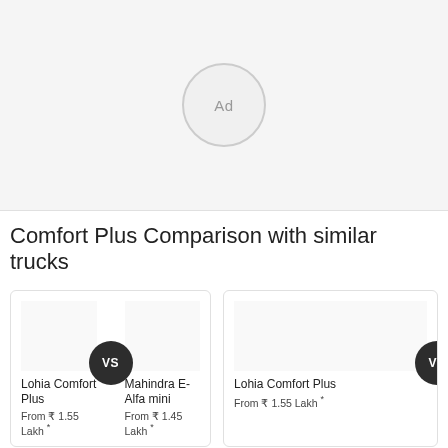[Figure (other): Advertisement placeholder circle with 'Ad' text on grey background]
Comfort Plus Comparison with similar trucks
Lohia Comfort Plus VS Mahindra E-Alfa mini
From ₹ 1.55 Lakh * From ₹ 1.45 Lakh *
Lohia Comfort Plus VS
From ₹ 1.55 Lakh *